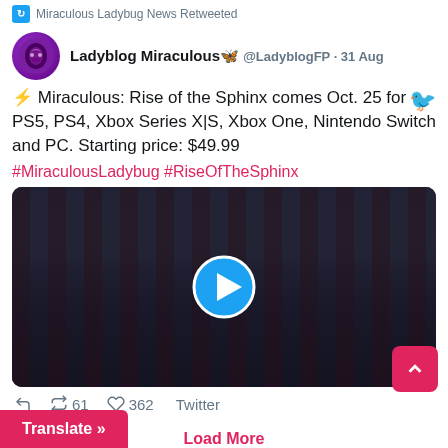Miraculous Ladybug News Retweeted
Ladyblog Miraculous🦋 @LadyblogFP · 31 Aug
⚡ Miraculous: Rise of the Sphinx comes Oct. 25 for PS5, PS4, Xbox Series X|S, Xbox One, Nintendo Switch and PC. Starting price: $49.99
#MiraculousLadybug #RiseOfTheSphinx
[Figure (screenshot): Video thumbnail showing a dark animated street scene with a play button overlay]
61 retweets, 362 likes, Twitter
Translate »
Load More